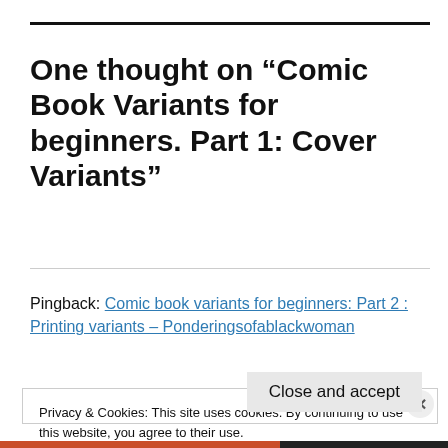One thought on “Comic Book Variants for beginners. Part 1: Cover Variants”
Pingback: Comic book variants for beginners: Part 2 : Printing variants – Ponderingsofablackwoman
Privacy & Cookies: This site uses cookies. By continuing to use this website, you agree to their use.
To find out more, including how to control cookies, see here:
Cookie Policy
Close and accept